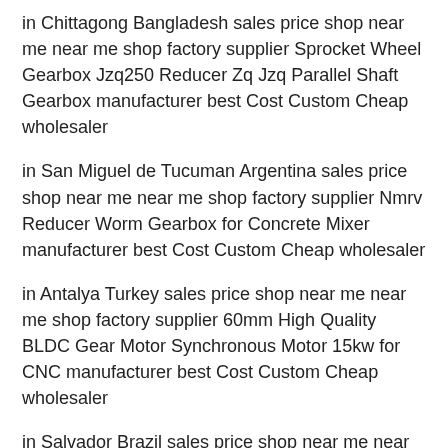in Chittagong Bangladesh sales price shop near me near me shop factory supplier Sprocket Wheel Gearbox Jzq250 Reducer Zq Jzq Parallel Shaft Gearbox manufacturer best Cost Custom Cheap wholesaler
in San Miguel de Tucuman Argentina sales price shop near me near me shop factory supplier Nmrv Reducer Worm Gearbox for Concrete Mixer manufacturer best Cost Custom Cheap wholesaler
in Antalya Turkey sales price shop near me near me shop factory supplier 60mm High Quality BLDC Gear Motor Synchronous Motor 15kw for CNC manufacturer best Cost Custom Cheap wholesaler
in Salvador Brazil sales price shop near me near me shop factory supplier Custom Made Mini Bevel Driven Screw Jack, Screw Jack Worm Gear with Bevel Gear for Sale manufacturer best Cost Custom Cheap wholesaler
in Valencia Spain